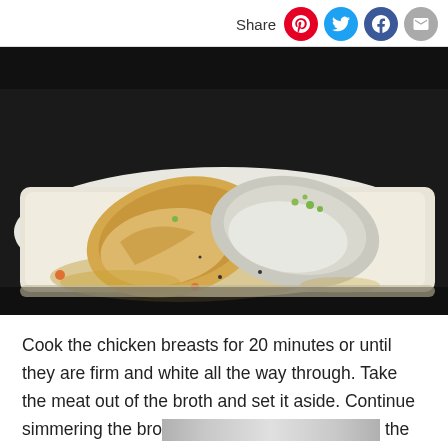Share
[Figure (photo): Cooked chicken breasts on a white cutting board with broth and vegetable pieces, dark background]
Cook the chicken breasts for 20 minutes or until they are firm and white all the way through. Take the meat out of the broth and set it aside. Continue simmering the bro... the